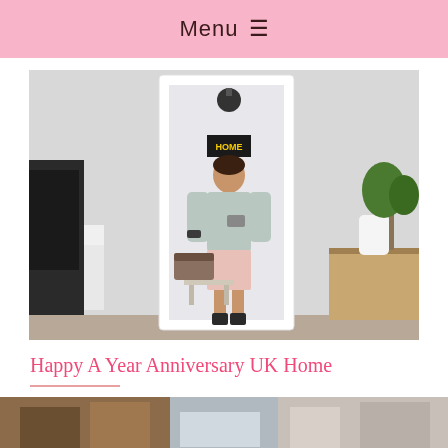Menu ≡
[Figure (photo): Person taking a mirror selfie in a living room. Full-length white-framed mirror, person wearing light grey sweatshirt and pink mini skirt with black boots. Room shows TV on left, wooden shelf with plants and white swan vase on right, pendant lamp visible in mirror reflection with a 'HOME' sign.]
Happy A Year Anniversary UK Home
[Figure (photo): Partial bottom strip of another photo, appears to show a room interior.]